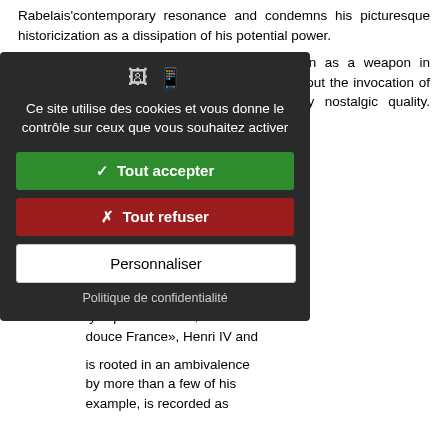Rabelais'contemporary resonance and condemns his picturesque historicization as a dissipation of his potential power.
Yet, for all of this appeal to satirical tradition as a weapon in contemporary struggle, what is most striking about the invocation of the past in cabaret culture is its soothingly nostalgic quality. …ies of contes, illuminated by …oddievalmedieval prose style …Visual representations, too, …world of prosperity, harmony, …nt of this genre, and one of …Henri Pille, whose work was …nçais in the years before his …g the present, Pille ranges …nd early modern period, …n as a tightly-knit organic …ty is presided over, and …douce France», Henri IV and
…is rooted in an ambivalence …by more than a few of his …example, is recorded as
[Figure (other): Cookie consent modal popup with dark background showing icons, French text 'Ce site utilise des cookies et vous donne le contrôle sur ceux que vous souhaitez activer', green 'Tout accepter' button, red 'Tout refuser' button, white 'Personnaliser' button, and 'Politique de confidentialité' link.]